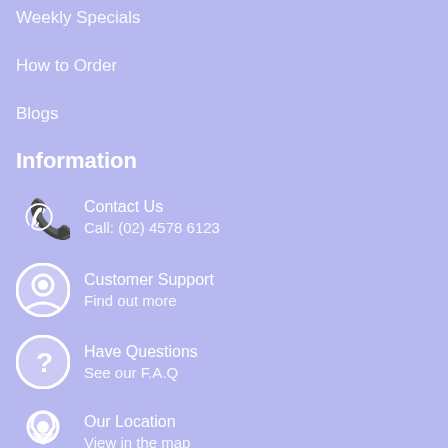Weekly Specials
How to Order
Blogs
Information
Contact Us
Call: (02) 4578 6123
Customer Support
Find out more
Have Questions
See our F.A.Q
Our Location
View in the map